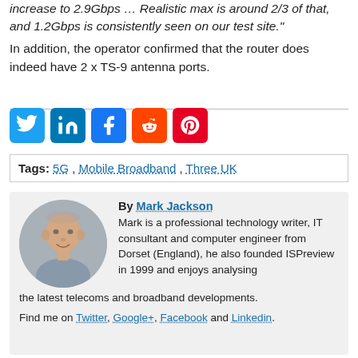increase to 2.9Gbps … Realistic max is around 2/3 of that, and 1.2Gbps is consistently seen on our test site." In addition, the operator confirmed that the router does indeed have 2 x TS-9 antenna ports.
[Figure (infographic): Social media share icons: Twitter, LinkedIn, Facebook, Reddit, Pinterest]
Tags: 5G , Mobile Broadband , Three UK
By Mark Jackson
Mark is a professional technology writer, IT consultant and computer engineer from Dorset (England), he also founded ISPreview in 1999 and enjoys analysing the latest telecoms and broadband developments. Find me on Twitter, Google+, Facebook and Linkedin.